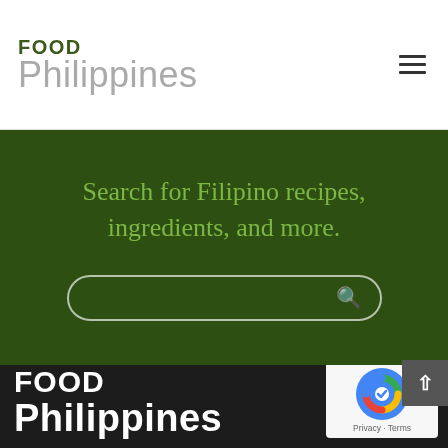[Figure (logo): Food Philippines logo: FOOD in dark green bold, Philippines in light gray below]
Search for Filipino recipes, ingredients, and more.
[Figure (logo): Food Philippines footer logo in white bold text on dark background, with reCAPTCHA badge]